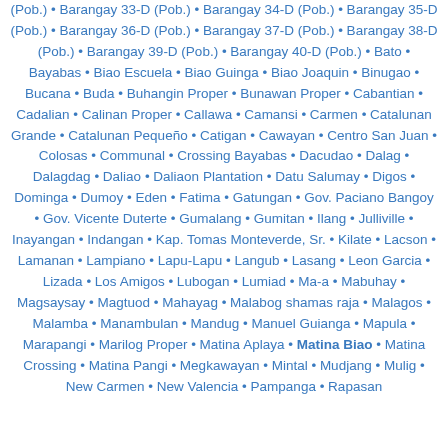(Pob.) • Barangay 33-D (Pob.) • Barangay 34-D (Pob.) • Barangay 35-D (Pob.) • Barangay 36-D (Pob.) • Barangay 37-D (Pob.) • Barangay 38-D (Pob.) • Barangay 39-D (Pob.) • Barangay 40-D (Pob.) • Bato • Bayabas • Biao Escuela • Biao Guinga • Biao Joaquin • Binugao • Bucana • Buda • Buhangin Proper • Bunawan Proper • Cabantian • Cadalian • Calinan Proper • Callawa • Camansi • Carmen • Catalunan Grande • Catalunan Pequeño • Catigan • Cawayan • Centro San Juan • Colosas • Communal • Crossing Bayabas • Dacudao • Dalag • Dalagdag • Daliao • Daliaon Plantation • Datu Salumay • Digos • Dominga • Dumoy • Eden • Fatima • Gatungan • Gov. Paciano Bangoy • Gov. Vicente Duterte • Gumalang • Gumitan • Ilang • Julliville • Inayangan • Indangan • Kap. Tomas Monteverde, Sr. • Kilate • Lacson • Lamanan • Lampiano • Lapu-Lapu • Langub • Lasang • Leon Garcia • Lizada • Los Amigos • Lubogan • Lumiad • Ma-a • Mabuhay • Magsaysay • Magtuod • Mahayag • Malabog shamas raja • Malagos • Malamba • Manambulan • Mandug • Manuel Guianga • Mapula • Marapangi • Marilog Proper • Matina Aplaya • Matina Biao • Matina Crossing • Matina Pangi • Megkawayan • Mintal • Mudjang • Mulig • New Carmen • New Valencia • Pampanga • Rapasan